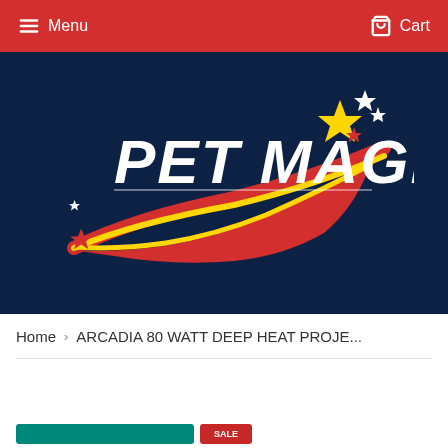Menu | Cart
[Figure (logo): Pet Magic logo on dark navy background — bold white italic 'PET MAGIC' text with colorful shooting star swoosh (red, yellow) and yellow/white stars]
Home › ARCADIA 80 WATT DEEP HEAT PROJE...